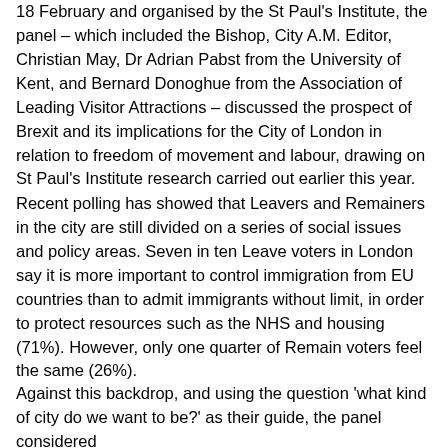18 February and organised by the St Paul's Institute, the panel – which included the Bishop, City A.M. Editor, Christian May, Dr Adrian Pabst from the University of Kent, and Bernard Donoghue from the Association of Leading Visitor Attractions – discussed the prospect of Brexit and its implications for the City of London in relation to freedom of movement and labour, drawing on St Paul's Institute research carried out earlier this year.
Recent polling has showed that Leavers and Remainers in the city are still divided on a series of social issues and policy areas. Seven in ten Leave voters in London say it is more important to control immigration from EU countries than to admit immigrants without limit, in order to protect resources such as the NHS and housing (71%). However, only one quarter of Remain voters feel the same (26%).
Against this backdrop, and using the question 'what kind of city do we want to be?' as their guide, the panel considered